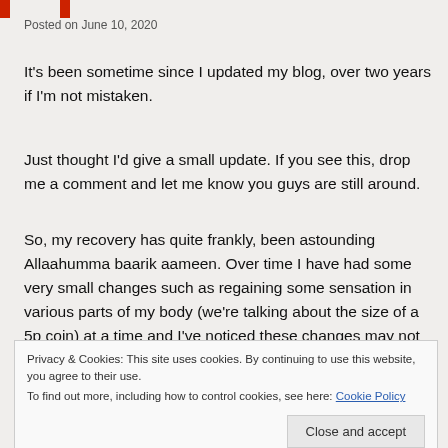Posted on June 10, 2020
It’s been sometime since I updated my blog, over two years if I’m not mistaken.
Just thought I’d give a small update. If you see this, drop me a comment and let me know you guys are still around.
So, my recovery has quite frankly, been astounding Allaahumma baarik aameen. Over time I have had some very small changes such as regaining some sensation in various parts of my body (we’re talking about the size of a 5p coin) at a time and I’ve noticed these changes may not even be permanent in most
Privacy & Cookies: This site uses cookies. By continuing to use this website, you agree to their use.
To find out more, including how to control cookies, see here: Cookie Policy
not all things